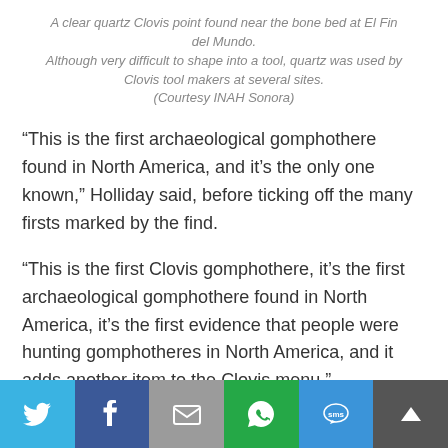A clear quartz Clovis point found near the bone bed at El Fin del Mundo. Although very difficult to shape into a tool, quartz was used by Clovis tool makers at several sites. (Courtesy INAH Sonora)
“This is the first archaeological gomphothere found in North America, and it’s the only one known,” Holliday said, before ticking off the many firsts marked by the find.
“This is the first Clovis gomphothere, it’s the first archaeological gomphothere found in North America, it’s the first evidence that people were hunting gomphotheres in North America, and it adds another item to the Clovis menu.”
[Figure (infographic): Social sharing bar with Twitter, Facebook, Email, WhatsApp, SMS, and scroll-to-top buttons]